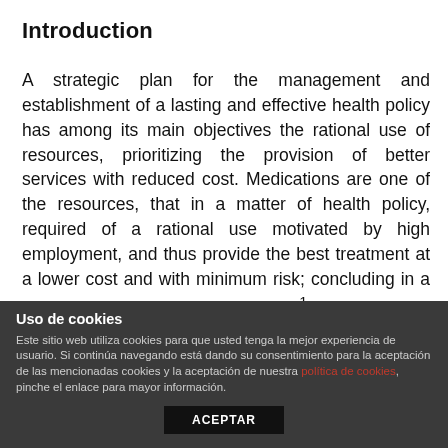Introduction
A strategic plan for the management and establishment of a lasting and effective health policy has among its main objectives the rational use of resources, prioritizing the provision of better services with reduced cost. Medications are one of the resources, that in a matter of health policy, required of a rational use motivated by high employment, and thus provide the best treatment at a lower cost and with minimum risk; concluding in a better quality of life related to health
Uso de cookies
Este sitio web utiliza cookies para que usted tenga la mejor experiencia de usuario. Si continúa navegando está dando su consentimiento para la aceptación de las mencionadas cookies y la aceptación de nuestra política de cookies, pinche el enlace para mayor información.
ACEPTAR